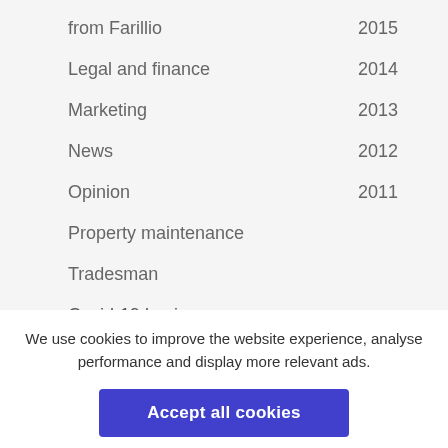from Farillio  2015
Legal and finance  2014
Marketing  2013
News  2012
Opinion  2011
Property maintenance
Tradesman
Covid-19 business support hub
We use cookies to improve the website experience, analyse performance and display more relevant ads.
Accept all cookies
Manage cookies